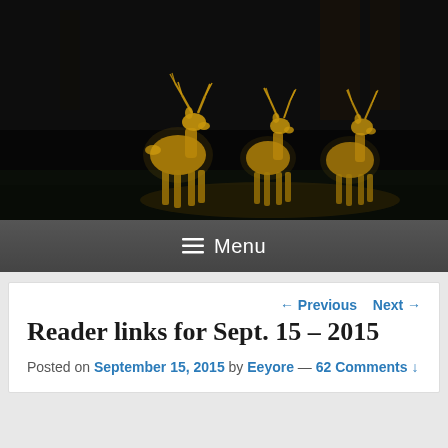[Figure (photo): Three illuminated reindeer decorations made of warm golden lights standing on dark ground against a dark building/night background]
≡ Menu
← Previous   Next →
Reader links for Sept. 15 – 2015
Posted on September 15, 2015 by Eeyore — 62 Comments ↓